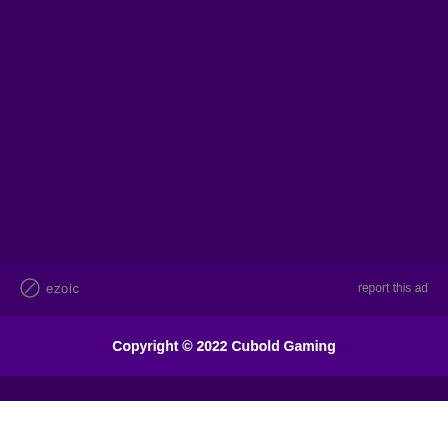[Figure (other): Ezoic ad network logo and report this ad link on dark purple background]
Copyright © 2022 Cubold Gaming